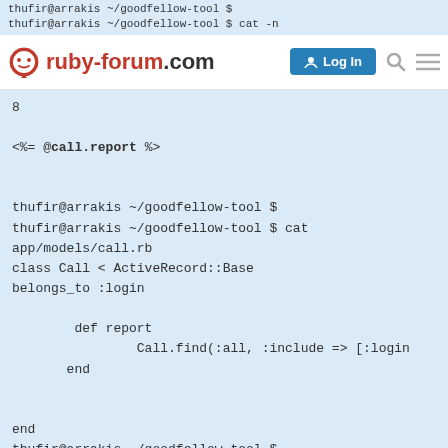thufir@arrakis ~/goodfellow-tool $ 
thufir@arrakis ~/goodfellow-tool $ cat -n
[Figure (screenshot): ruby-forum.com navigation bar with Log In button, search icon, and menu icon]
8

<%= @call.report %>


thufir@arrakis ~/goodfellow-tool $
thufir@arrakis ~/goodfellow-tool $ cat app/models/call.rb
class Call < ActiveRecord::Base
belongs_to :login

        def report
                Call.find(:all, :include => [:login
        end


end
thufir@arrakis ~/goodfellow-tool $
And mongrel reports:
1 / 1